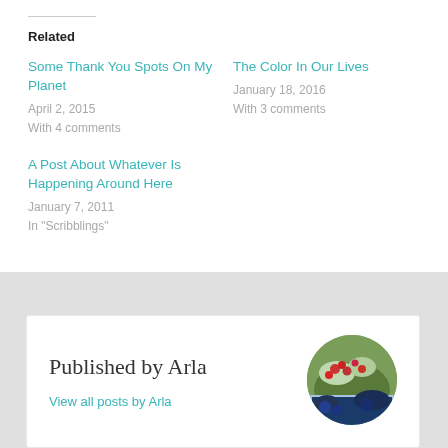Related
Some Thank You Spots On My Planet
April 2, 2015
With 4 comments
The Color In Our Lives
January 18, 2016
With 3 comments
A Post About Whatever Is Happening Around Here
January 7, 2011
In "Scribblings"
Published by Arla
View all posts by Arla
[Figure (photo): Circular profile photo of author Arla showing berries and plants]